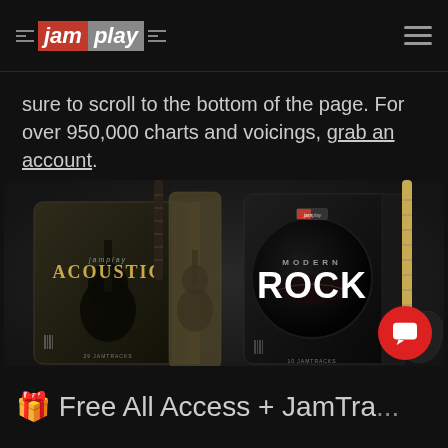[Figure (logo): JamPlay logo with red 'jam' and grey 'play' text, decorative horizontal lines on both sides, on dark background. Hamburger menu icon on right.]
sure to scroll to the bottom of the page. For over 950,000 charts and voicings, grab an account.
[Figure (photo): Two music pack product boxes: 'Acoustic' pack showing acoustic guitar on dark box with gold lettering (29 JAMTRACKS), and 'Modern Rock' pack showing electric guitar with circular mouth graphic (10 JAMTRACKS). Dark background with slight glow effects.]
🎁 Free All Access + JamTra... Pack...